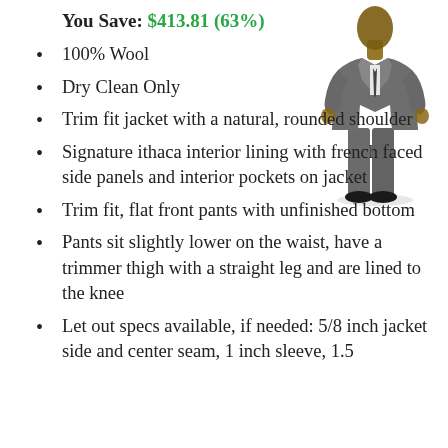You Save: $413.81 (63%)
[Figure (photo): Photo of a man wearing a grey suit (jacket and trousers), standing facing forward.]
100% Wool
Dry Clean Only
Trim fit jacket with a natural, rounded shoulder
Signature ithaca interior lining with french faced side panels and interior pockets on jacket
Trim fit, flat front pants with unfinished bottom
Pants sit slightly lower on the waist, have a trimmer thigh with a straight leg and are lined to the knee
Let out specs available, if needed: 5/8 inch jacket side and center seam, 1 inch sleeve, 1.5